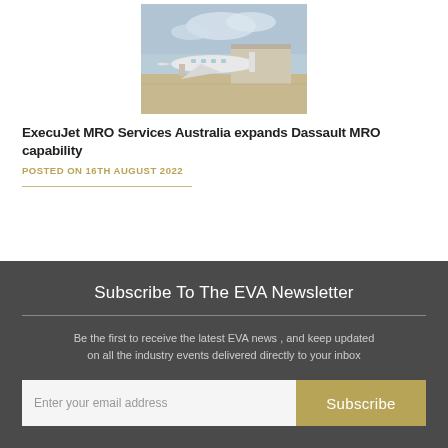[Figure (photo): Photograph of a private jet aircraft parked on a tarmac at an airport, with a hangar visible in the background and an overcast sky.]
ExecuJet MRO Services Australia expands Dassault MRO capability
POSTED ON 16TH AUGUST 2022
Subscribe To The EVA Newsletter
Be the first to receive the latest EVA news , and keep updated on all the industry events delivered directly to your inbox